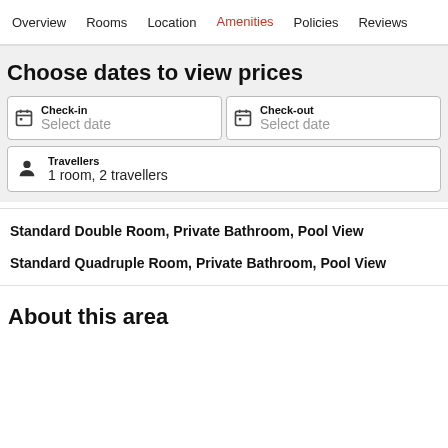Overview  Rooms  Location  Amenities  Policies  Reviews
Choose dates to view prices
Check-in
Select date
Check-out
Select date
Travellers
1 room, 2 travellers
Standard Double Room, Private Bathroom, Pool View
Standard Quadruple Room, Private Bathroom, Pool View
About this area